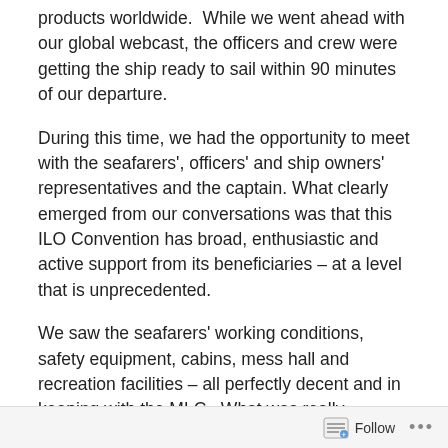products worldwide.  While we went ahead with our global webcast, the officers and crew were getting the ship ready to sail within 90 minutes of our departure.
During this time, we had the opportunity to meet with the seafarers', officers' and ship owners' representatives and the captain. What clearly emerged from our conversations was that this ILO Convention has broad, enthusiastic and active support from its beneficiaries – at a level that is unprecedented.
We saw the seafarers' working conditions, safety equipment, cabins, mess hall and recreation facilities – all perfectly decent and in keeping with the MLC.  What was really impressive was their enthusiasm about the new Convention, and how pleased and proud they were to see
Follow